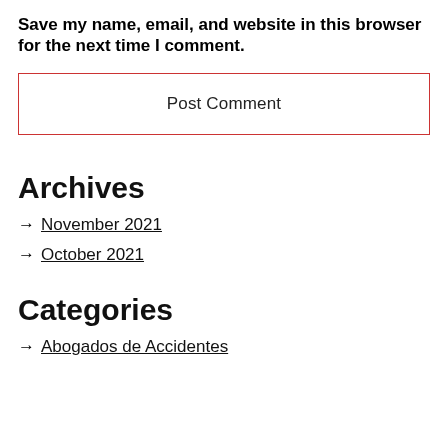Save my name, email, and website in this browser for the next time I comment.
Post Comment
Archives
→ November 2021
→ October 2021
Categories
→ Abogados de Accidentes